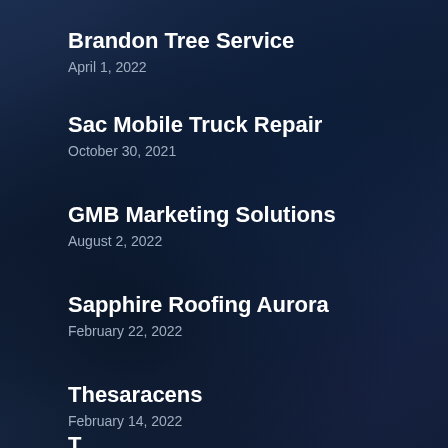Brandon Tree Service
April 1, 2022
Sac Mobile Truck Repair
October 30, 2021
GMB Marketing Solutions
August 2, 2022
Sapphire Roofing Aurora
February 22, 2022
Thesaracens
February 14, 2022
T...